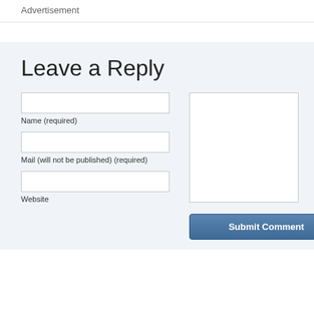Advertisement
Leave a Reply
Name (required)
Mail (will not be published) (required)
Website
Submit Comment